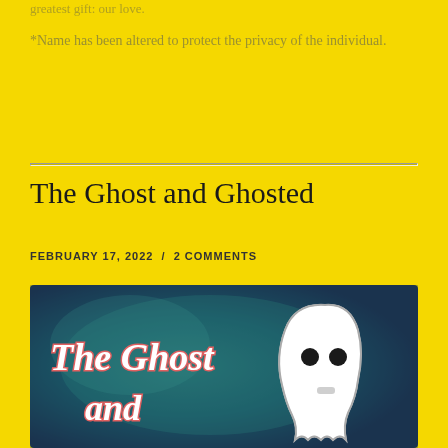greatest gift: our love.
*Name has been altered to protect the privacy of the individual.
The Ghost and Ghosted
FEBRUARY 17, 2022 / 2 COMMENTS
[Figure (illustration): Blog post header image with teal/blue textured background showing cursive text 'The Ghost and' in pink/white with a cartoon ghost character on the right side]